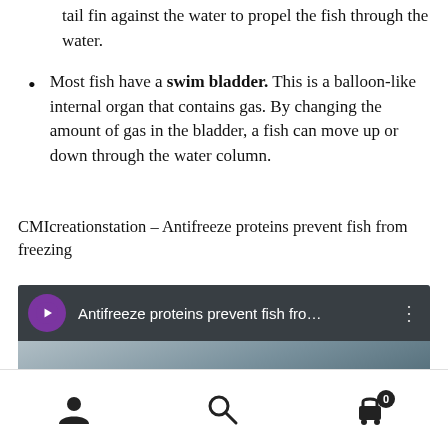tail fin against the water to propel the fish through the water.
Most fish have a swim bladder. This is a balloon-like internal organ that contains gas. By changing the amount of gas in the bladder, a fish can move up or down through the water column.
CMIcreationstation – Antifreeze proteins prevent fish from freezing
[Figure (screenshot): Video thumbnail showing 'Antifreeze proteins prevent fish fro...' with a purple play button icon on a dark overlay bar, and a blurred icy/fish background image below.]
Navigation bar with user icon, search icon, and cart icon with badge 0